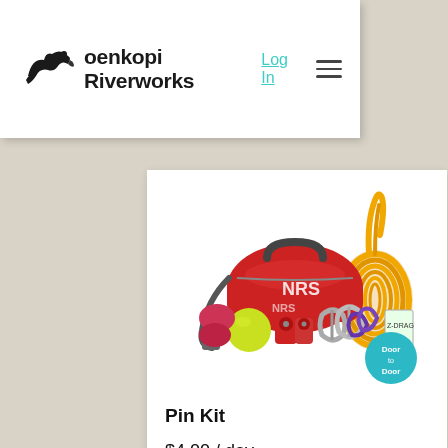Koenkopi Riverworks — Log In
[Figure (photo): Product photo of a Pin Kit including a red NRS duffel bag, yellow climbing rope, purple accessory cord, carabiners, red pulleys, a yellow ball, and a small booklet. A 'Door to Door' badge is overlaid in the bottom right corner.]
Pin Kit
$4.00 / day